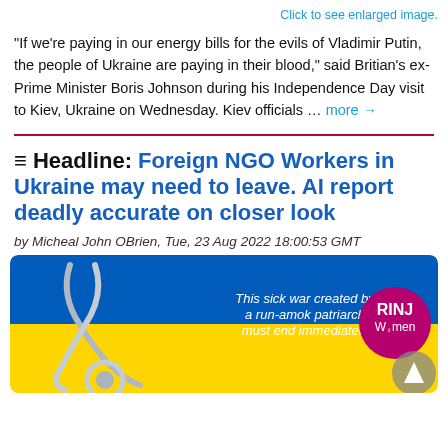Click to see enlarged image.
“If we’re paying in our energy bills for the evils of Vladimir Putin, the people of Ukraine are paying in their blood,” said Britian’s ex-Prime Minister Boris Johnson during his Independence Day visit to Kiev, Ukraine on Wednesday. Kiev officials … more →
≣ Headline: Foreign NGO Workers in Ukraine may need to leave. AI report deadly accurate on closer look
by Micheal John OBrien, Tue, 23 Aug 2022 18:00:53 GMT
[Figure (illustration): Banner image with blue and yellow Ukrainian flag colors, a stethoscope, and RINJ Women logo with text: 'This sick war created by a run-amok patriarch must end immediately']